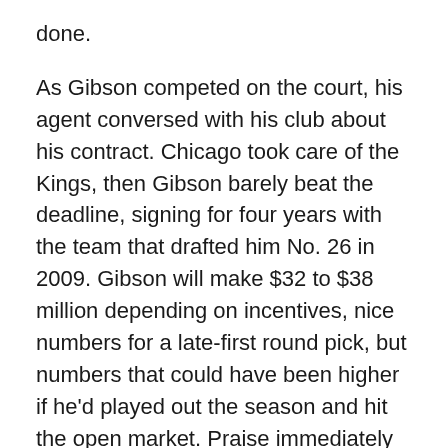done.
As Gibson competed on the court, his agent conversed with his club about his contract. Chicago took care of the Kings, then Gibson barely beat the deadline, signing for four years with the team that drafted him No. 26 in 2009. Gibson will make $32 to $38 million depending on incentives, nice numbers for a late-first round pick, but numbers that could have been higher if he'd played out the season and hit the open market. Praise immediately followed for the Bulls.
"It was a lot of emotion," Gibson said. "It was like one of the biggest decisions of your life. It was like a decision as far as making a choice of what college I want to go to, then now this is one of the biggest decisions -- having to choose whether to take money